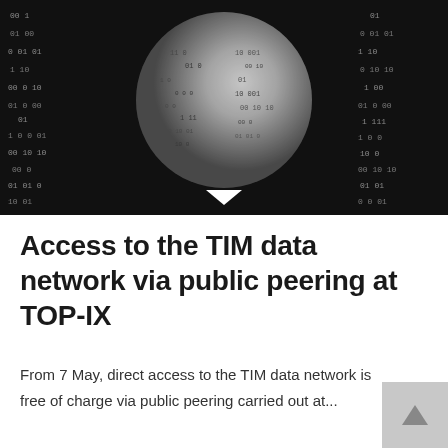[Figure (photo): Black and white image of a globe covered in binary digits (0s and 1s) against a dark background with falling binary code on both sides, resembling a digital world concept.]
Access to the TIM data network via public peering at TOP-IX
From 7 May, direct access to the TIM data network is free of charge via public peering carried out at...